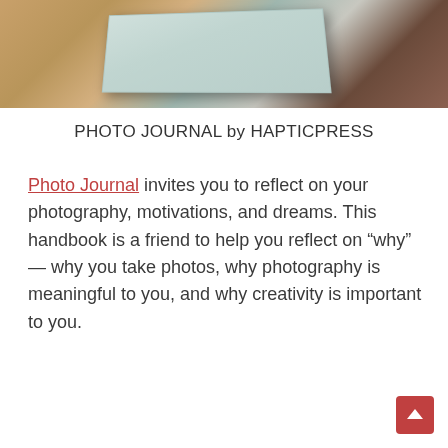[Figure (photo): Top photo showing a light blue/teal notebook or journal tilted on a wooden surface with warm brown tones]
PHOTO JOURNAL by HAPTICPRESS
Photo Journal invites you to reflect on your photography, motivations, and dreams. This handbook is a friend to help you reflect on "why" — why you take photos, why photography is meaningful to you, and why creativity is important to you.
[Figure (photo): Bottom photo showing two people in a dark setting, one holding up a light blue/teal notebook or journal. A red scroll-to-top button with an upward arrow chevron is visible in the bottom right corner.]